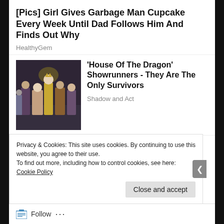[Pics] Girl Gives Garbage Man Cupcake Every Week Until Dad Follows Him And Finds Out Why
HealthyGem
[Figure (photo): Cast of House Of The Dragon seated on thrones in medieval fantasy costumes]
'House Of The Dragon' Showrunners - They Are The Only Survivors
Shadow and Act
[Figure (photo): Modern smart bed with adjustable sections and wooden slat design]
The Best Smart Beds in 2022 (View Now)
Smart Bed | Search Ads
Privacy & Cookies: This site uses cookies. By continuing to use this website, you agree to their use.
To find out more, including how to control cookies, see here: Cookie Policy
Close and accept
Follow